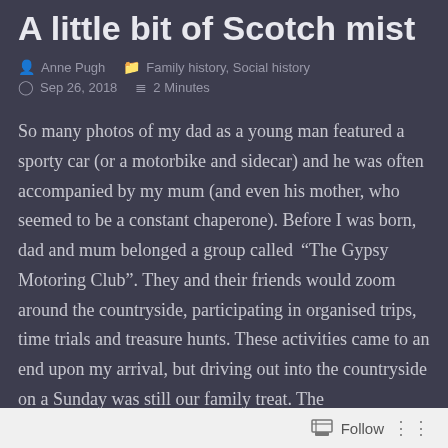A little bit of Scotch mist
Anne Pugh   Family history, Social history   Sep 26, 2018   2 Minutes
So many photos of my dad as a young man featured a sporty car (or a motorbike and sidecar) and he was often accompanied by my mum (and even his mother, who seemed to be a constant chaperone). Before I was born, dad and mum belonged a group called “The Gypsy Motoring Club”. They and their friends would zoom around the countryside, participating in organised trips, time trials and treasure hunts. These activities came to an end upon my arrival, but driving out into the countryside on a Sunday was still our family treat. The
Follow